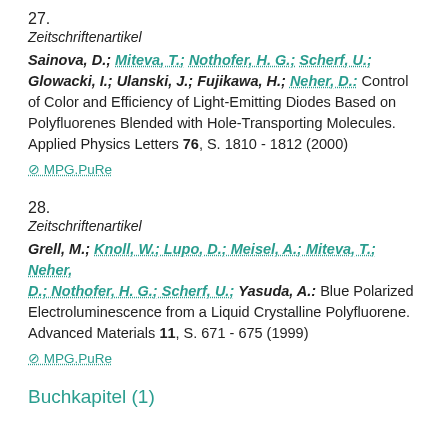27.
Zeitschriftenartikel
Sainova, D.; Miteva, T.; Nothofer, H. G.; Scherf, U.; Glowacki, I.; Ulanski, J.; Fujikawa, H.; Neher, D.: Control of Color and Efficiency of Light-Emitting Diodes Based on Polyfluorenes Blended with Hole-Transporting Molecules. Applied Physics Letters 76, S. 1810 - 1812 (2000)
⊘ MPG.PuRe
28.
Zeitschriftenartikel
Grell, M.; Knoll, W.; Lupo, D.; Meisel, A.; Miteva, T.; Neher, D.; Nothofer, H. G.; Scherf, U.; Yasuda, A.: Blue Polarized Electroluminescence from a Liquid Crystalline Polyfluorene. Advanced Materials 11, S. 671 - 675 (1999)
⊘ MPG.PuRe
Buchkapitel (1)